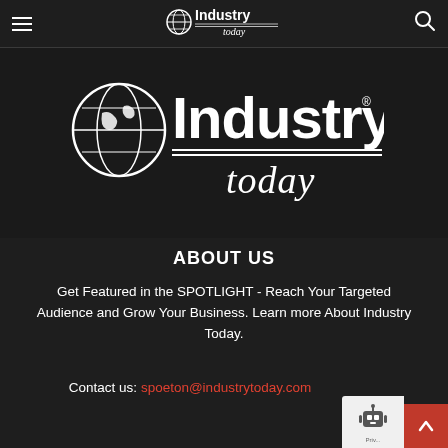Industry Today - navigation bar with hamburger menu, logo, and search icon
[Figure (logo): Industry Today logo - large white globe icon next to bold white 'Industry' text with 'today' below in smaller script, on dark background]
ABOUT US
Get Featured in the SPOTLIGHT - Reach Your Targeted Audience and Grow Your Business. Learn more About Industry Today.
Contact us: spoeton@industrytoday.com